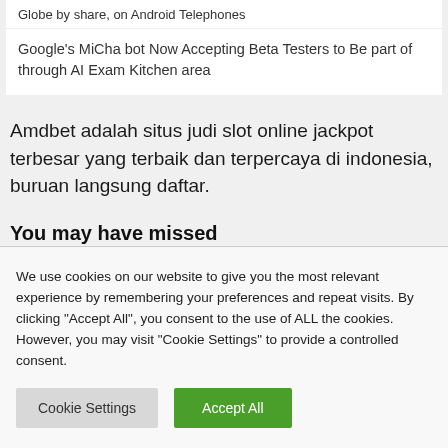Globe by share, on Android Telephones
Google's MiCha bot Now Accepting Beta Testers to Be part of through AI Exam Kitchen area
Amdbet adalah situs judi slot online jackpot terbesar yang terbaik dan terpercaya di indonesia, buruan langsung daftar.
You may have missed
We use cookies on our website to give you the most relevant experience by remembering your preferences and repeat visits. By clicking "Accept All", you consent to the use of ALL the cookies. However, you may visit "Cookie Settings" to provide a controlled consent.